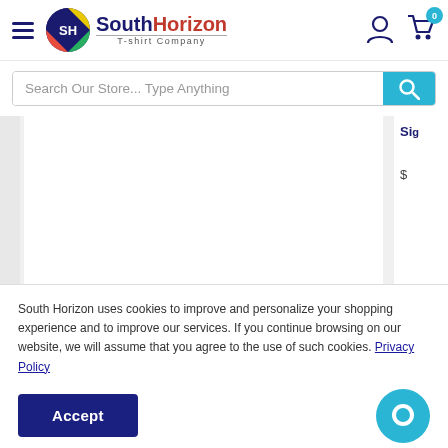[Figure (logo): SouthHorizon T-shirt Company logo with colorful circular SH emblem]
Search Our Store... Type Anything
[Figure (screenshot): Partially visible product panel - white empty area]
South Horizon uses cookies to improve and personalize your shopping experience and to improve our services. If you continue browsing on our website, we will assume that you agree to the use of such cookies. Privacy Policy
Accept